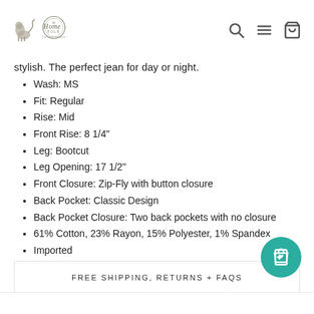Home Folk — Fearlessly Authentic [logo] [search icon] [menu icon] [cart icon]
stylish. The perfect jean for day or night.
Wash: MS
Fit: Regular
Rise: Mid
Front Rise: 8 1/4"
Leg: Bootcut
Leg Opening: 17 1/2"
Front Closure: Zip-Fly with button closure
Back Pocket: Classic Design
Back Pocket Closure: Two back pockets with no closure
61% Cotton, 23% Rayon, 15% Polyester, 1% Spandex
Imported
FREE SHIPPING, RETURNS + FAQS